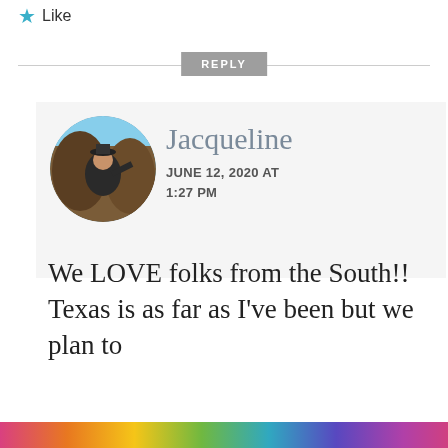★ Like
REPLY
[Figure (photo): Circular avatar photo of Jacqueline, a woman in outdoor/hiking setting against rocky background]
Jacqueline
JUNE 12, 2020 AT 1:27 PM
We LOVE folks from the South!! Texas is as far as I've been but we plan to
Privacy & Cookies: This site uses cookies. By continuing to use this website, you agree to their use.
To find out more, including how to control cookies, see here:
Cookie Policy
Close and accept